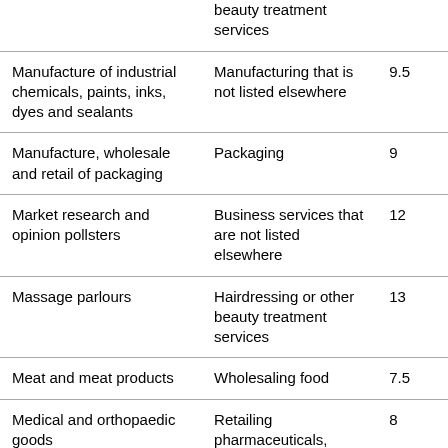|  | beauty treatment services |  |
| Manufacture of industrial chemicals, paints, inks, dyes and sealants | Manufacturing that is not listed elsewhere | 9.5 |
| Manufacture, wholesale and retail of packaging | Packaging | 9 |
| Market research and opinion pollsters | Business services that are not listed elsewhere | 12 |
| Massage parlours | Hairdressing or other beauty treatment services | 13 |
| Meat and meat products | Wholesaling food | 7.5 |
| Medical and orthopaedic goods | Retailing pharmaceuticals, | 8 |